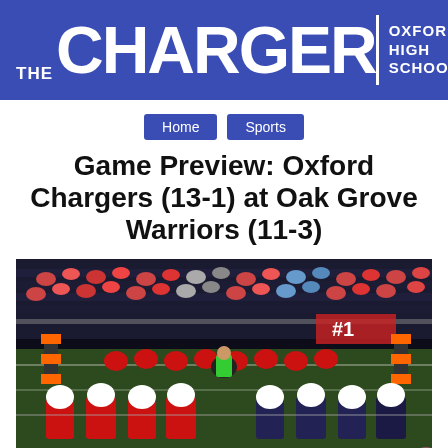THE CHARGER | OXFORD HIGH SCHOOL
Home   Sports
Game Preview: Oxford Chargers (13-1) at Oak Grove Warriors (11-3)
[Figure (photo): Night football game photo showing two teams lined up at the line of scrimmage. Red and white uniformed players on the left, dark uniformed players on the right. Bleachers with spectators in the background, orange and black yard markers visible.]